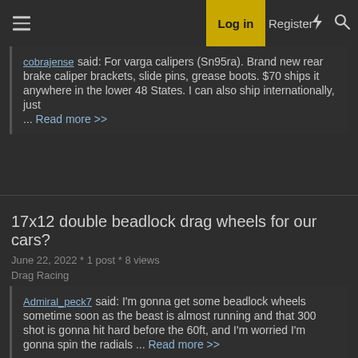Log in | Register
cobrajense said: For varga calipers (Sn95ra). Brand new rear brake caliper brackets, slide pins, grease boots. $70 ships it anywhere in the lower 48 States. I can also ship internationally, just ... Read more >>
17x12 double beadlock drag wheels for our cars?
June 22, 2022 * 1 post * 8 views
Drag Racing
Admiral_peck7 said: I'm gonna get some beadlock wheels sometime soon as the beast is almost running and that 300 shot is gonna hit hard before the 60ft, and I'm worried I'm gonna spin the radials ... Read more >>
Highlighted posts from Tuesday, Jun. 21, 2022
June 22, 2022 * 1 post * 7 views
Newsletter Archive